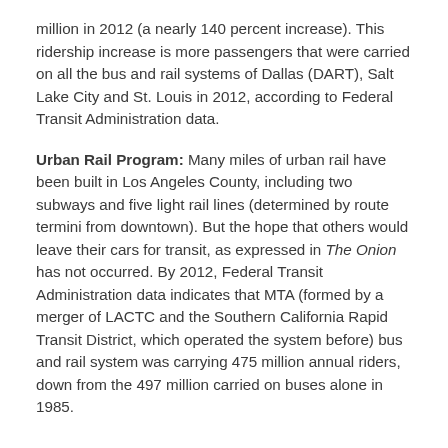million in 2012 (a nearly 140 percent increase). This ridership increase is more passengers that were carried on all the bus and rail systems of Dallas (DART), Salt Lake City and St. Louis in 2012, according to Federal Transit Administration data.
Urban Rail Program: Many miles of urban rail have been built in Los Angeles County, including two subways and five light rail lines (determined by route termini from downtown). But the hope that others would leave their cars for transit, as expressed in The Onion has not occurred. By 2012, Federal Transit Administration data indicates that MTA (formed by a merger of LACTC and the Southern California Rapid Transit District, which operated the system before) bus and rail system was carrying 475 million annual riders, down from the 497 million carried on buses alone in 1985.